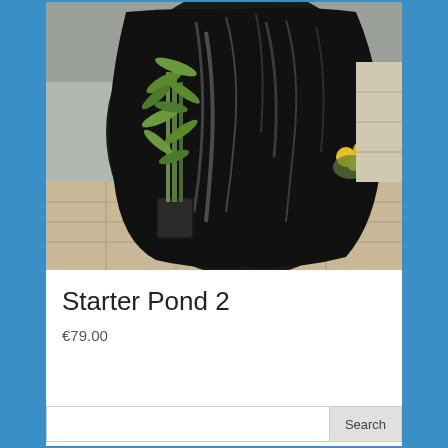[Figure (photo): A large black pond liner folded and leaning against a wall outdoors, next to a green bamboo plant in a black pot and yellow flowers, on a stone patio.]
Starter Pond 2
€79.00